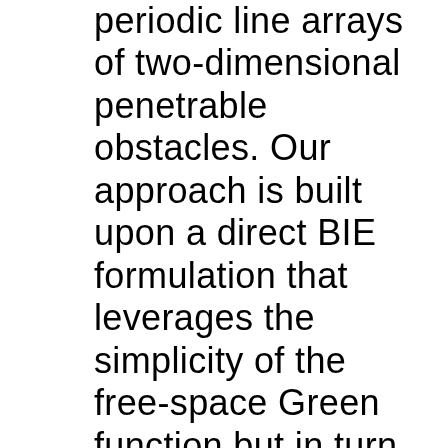periodic line arrays of two-dimensional penetrable obstacles. Our approach is built upon a direct BIE formulation that leverages the simplicity of the free-space Green function but in turn entails evaluation of integrals over the unit-cell boundaries. Such integrals are here treated via the window Green function method. The window...